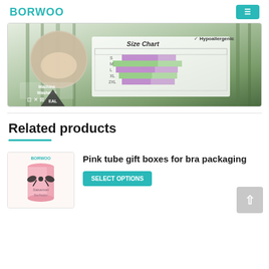BORWOO
[Figure (photo): Product packaging image showing a bamboo-themed pad package with Size Chart, Hypoallergenic label, Machine Washable label, care symbols, and EAL certification mark. Size chart shows colored grid with purple and green cells.]
Related products
[Figure (photo): Pink tube gift box for bra packaging with BORWOO logo, pink cylindrical box with black bow ribbon detail, branded Saisamorn.]
Pink tube gift boxes for bra packaging